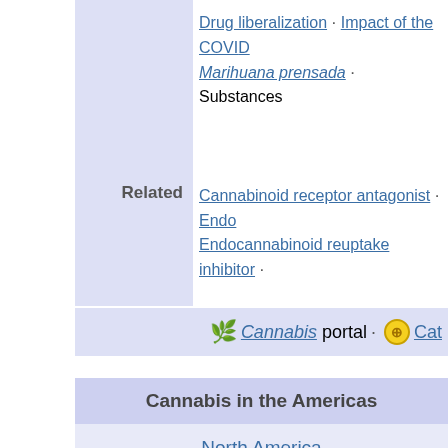Drug liberalization · Impact of the COVID... · Marihuana prensada · Substances
Related
Cannabinoid receptor antagonist · Endo... · Endocannabinoid reuptake inhibitor · ·
🌿 Cannabis portal · ⊕ Cat...
Cannabis in the Americas
North America
Caribbean · Central America · Northern America · · South America ·